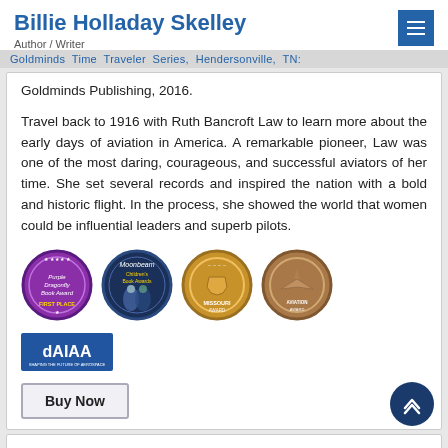Billie Holladay Skelley
Author / Writer
Goldminds Time Traveler Series, Hendersonville, TN: Goldminds Publishing, 2016.
Travel back to 1916 with Ruth Bancroft Law to learn more about the early days of aviation in America. A remarkable pioneer, Law was one of the most daring, courageous, and successful aviators of her time. She set several records and inspired the nation with a bold and historic flight. In the process, she showed the world that women could be influential leaders and superb pilots.
[Figure (logo): Purple Dragonfly Book Award First Place badge - circular purple medal with dragonfly and stars]
[Figure (logo): Moonbeam Book Award badge - circular dark blue medal with figures]
[Figure (logo): Missouri Award badge - circular gold medal with state outline]
[Figure (logo): Bronze medal award badge - circular bronze medal with aircraft imagery]
[Figure (logo): AIAA - Shaping the Future of Aerospace logo]
Buy Now